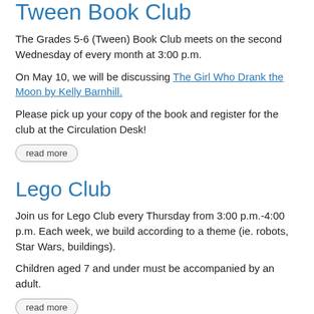Tween Book Club
The Grades 5-6 (Tween) Book Club meets on the second Wednesday of every month at 3:00 p.m.
On May 10, we will be discussing The Girl Who Drank the Moon by Kelly Barnhill.
Please pick up your copy of the book and register for the club at the Circulation Desk!
read more
Lego Club
Join us for Lego Club every Thursday from 3:00 p.m.-4:00 p.m. Each week, we build according to a theme (ie. robots, Star Wars, buildings).
Children aged 7 and under must be accompanied by an adult.
read more